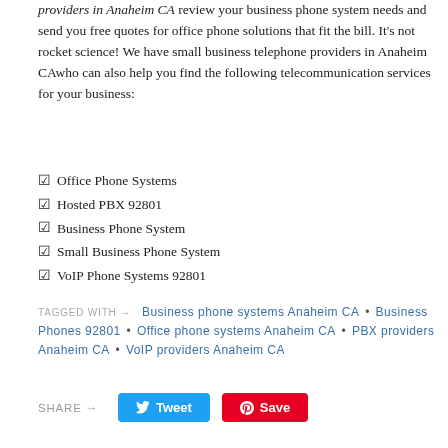providers in Anaheim CA review your business phone system needs and send you free quotes for office phone solutions that fit the bill. It's not rocket science! We have small business telephone providers in Anaheim CAwho can also help you find the following telecommunication services for your business:
Office Phone Systems
Hosted PBX 92801
Business Phone System
Small Business Phone System
VoIP Phone Systems 92801
TAGGED WITH → Business phone systems Anaheim CA • Business Phones 92801 • Office phone systems Anaheim CA • PBX providers Anaheim CA • VoIP providers Anaheim CA
SHARE → Tweet Save